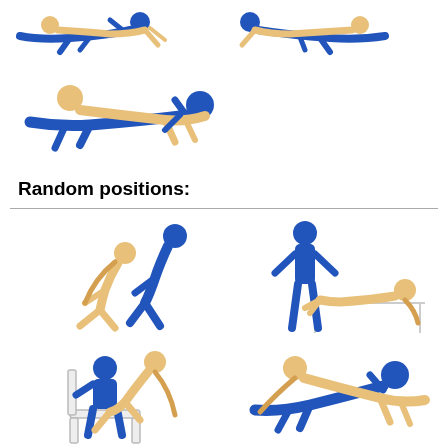[Figure (illustration): Two figures in a horizontal reclining position, blue and skin-tone colored, top-left area]
[Figure (illustration): Two figures in a horizontal reclining position, blue and skin-tone colored, top-right area]
[Figure (illustration): Two figures in a side-lying intimate position, blue and skin-tone colored, mid-left area]
Random positions:
[Figure (illustration): Two figures in a kneeling/sitting intimate position, blue and skin-tone colored, lower-left]
[Figure (illustration): Two figures in a standing/table intimate position, blue and skin-tone colored, lower-right]
[Figure (illustration): Two figures in a chair/seated intimate position, blue and skin-tone colored, bottom-left]
[Figure (illustration): Two figures in a floor reclining intimate position, blue and skin-tone colored, bottom-right]